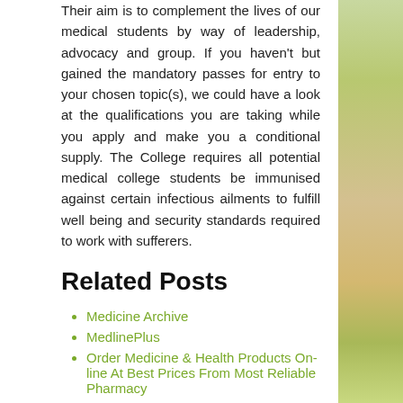Their aim is to complement the lives of our medical students by way of leadership, advocacy and group. If you haven't but gained the mandatory passes for entry to your chosen topic(s), we could have a look at the qualifications you are taking while you apply and make you a conditional supply. The College requires all potential medical college students be immunised against certain infectious ailments to fulfill well being and security standards required to work with sufferers.
Related Posts
Medicine Archive
MedlinePlus
Order Medicine & Health Products On-line At Best Prices From Most Reliable Pharmacy
College Of Pittsburgh
Annual Review Of Medicine
[Figure (infographic): Row of social media sharing buttons: Facebook, Twitter, Email, Pinterest, Tumblr, Reddit, LinkedIn, WhatsApp, Blogger, and a second row with Google Plus and VK]